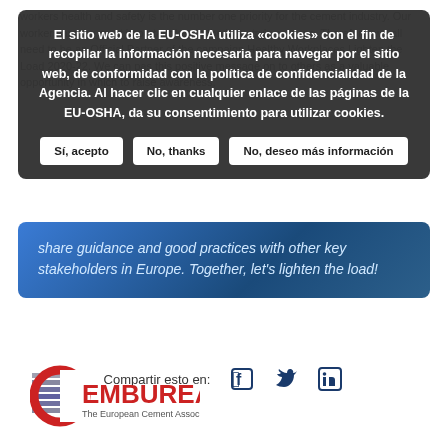workers health and safety is the number one priority for the cement industry. Our workers are the most important key to the industry's success. Therefore, we all need to be an Official Partner of the campaign Healthy Workplaces Lighten the Load 2020-22. We can pass this positive message on to others as a valuable opportunity in which to raise awareness, share guidance and good practices with other key stakeholders in Europe. Together, let's lighten the load!
El sitio web de la EU-OSHA utiliza «cookies» con el fin de recopilar la información necesaria para navegar por el sitio web, de conformidad con la política de confidencialidad de la Agencia. Al hacer clic en cualquier enlace de las páginas de la EU-OSHA, da su consentimiento para utilizar cookies.
Sí, acepto | No, thanks | No, deseo más información
share guidance and good practices with other key stakeholders in Europe. Together, let's lighten the load!
Compartir esto en:
[Figure (logo): CEMBUREAU The European Cement Association logo]